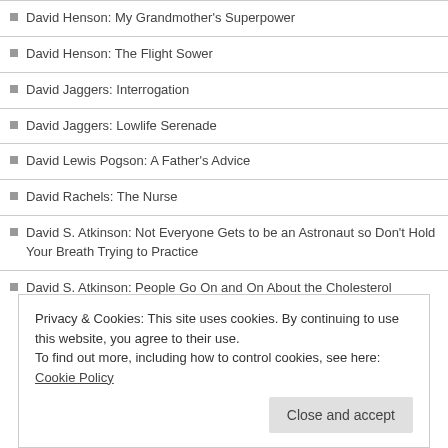David Henson: My Grandmother's Superpower
David Henson: The Flight Sower
David Jaggers: Interrogation
David Jaggers: Lowlife Serenade
David Lewis Pogson: A Father's Advice
David Rachels: The Nurse
David S. Atkinson: Not Everyone Gets to be an Astronaut so Don't Hold Your Breath Trying to Practice
David S. Atkinson: People Go On and On About the Cholesterol Benefits of Cheerios But No One Wants to Talk About How Many Hamsters They Execute as Part of Their Annual Company Picnic Sack Race Awards Ceremony
Privacy & Cookies: This site uses cookies. By continuing to use this website, you agree to their use.
To find out more, including how to control cookies, see here: Cookie Policy